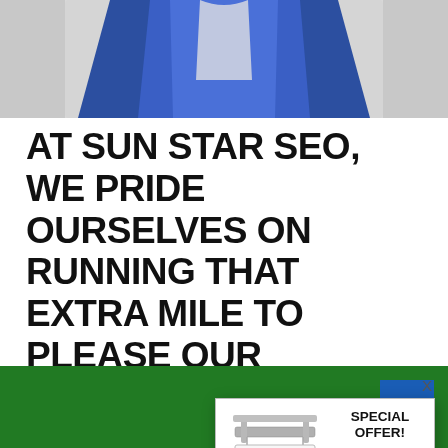[Figure (photo): Person wearing a blue jacket, cropped upper body shot against a light background]
AT SUN STAR SEO, WE PRIDE OURSELVES ON RUNNING THAT EXTRA MILE TO PLEASE OUR CLIENTS COMPLETELY.
Allow us ... your electrical ...
As a homeo... n electrician at some poi... r safety
[Figure (infographic): Popup advertisement overlay showing a real estate style sign reading WEBSITE FOR SALE Turn Key 727-639-7078, with a SPECIAL OFFER panel saying 'Just tell us what you want and we will make it happen. Contact us today.' and a red bottom section reading 'Looking to buy a website for your business? We have a range of websites for sale that have been professionally vetted by our experienced team.']